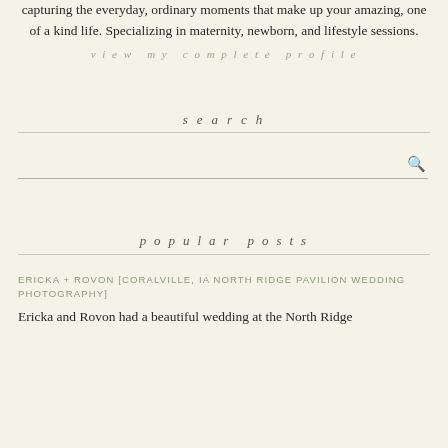capturing the everyday, ordinary moments that make up your amazing, one of a kind life. Specializing in maternity, newborn, and lifestyle sessions.
view my complete profile
search
popular posts
ERICKA + ROVON [CORALVILLE, IA NORTH RIDGE PAVILION WEDDING PHOTOGRAPHY]
Ericka and Rovon had a beautiful wedding at the North Ridge